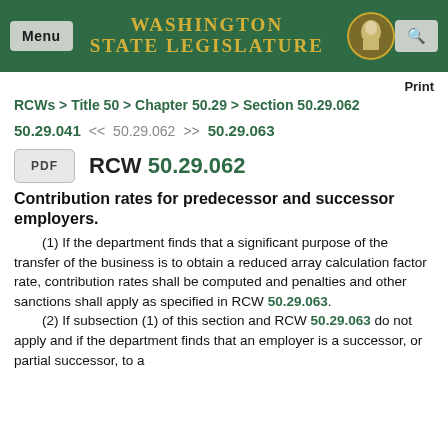Washington State Legislature
Print
RCWs > Title 50 > Chapter 50.29 > Section 50.29.062
50.29.041  << 50.29.062 >>  50.29.063
PDF   RCW 50.29.062
Contribution rates for predecessor and successor employers.
(1) If the department finds that a significant purpose of the transfer of the business is to obtain a reduced array calculation factor rate, contribution rates shall be computed and penalties and other sanctions shall apply as specified in RCW 50.29.063.
(2) If subsection (1) of this section and RCW 50.29.063 do not apply and if the department finds that an employer is a successor, or partial successor, to a